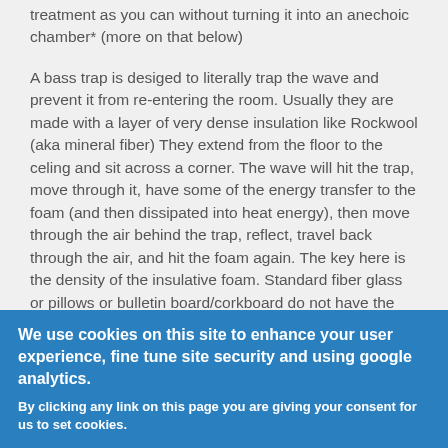treatment as you can without turning it into an anechoic chamber* (more on that below)
A bass trap is desiged to literally trap the wave and prevent it from re-entering the room. Usually they are made with a layer of very dense insulation like Rockwool (aka mineral fiber) They extend from the floor to the celing and sit across a corner. The wave will hit the trap, move through it, have some of the energy transfer to the foam (and then dissipated into heat energy), then move through the air behind the trap, reflect, travel back through the air, and hit the foam again. The key here is the density of the insulative foam. Standard fiber glass or pillows or bulletin board/corkboard do not have the required density to absorb such a huge wave. You'll want to use something with mineral fiber (rockwool) or
We use cookies on this site to enhance your user experience, fine tune site security and using google analytics.
By clicking any link on this page you are giving your consent for us to set cookies.